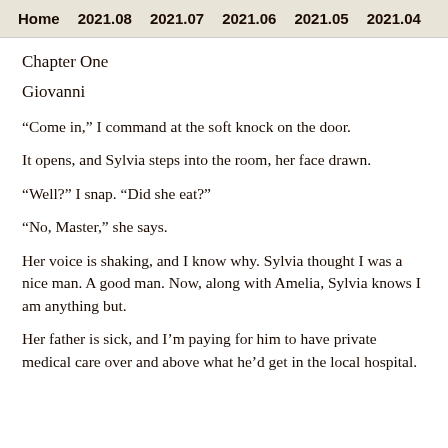Home 2021.08 2021.07 2021.06 2021.05 2021.04
Chapter One
Giovanni
“Come in,” I command at the soft knock on the door.
It opens, and Sylvia steps into the room, her face drawn.
“Well?” I snap. “Did she eat?”
“No, Master,” she says.
Her voice is shaking, and I know why. Sylvia thought I was a nice man. A good man. Now, along with Amelia, Sylvia knows I am anything but.
Her father is sick, and I’m paying for him to have private medical care over and above what he’d get in the local hospital.